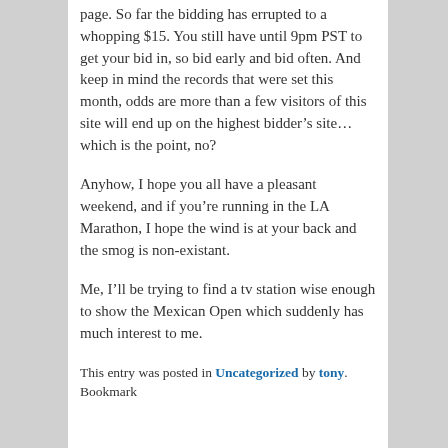page. So far the bidding has errupted to a whopping $15. You still have until 9pm PST to get your bid in, so bid early and bid often. And keep in mind the records that were set this month, odds are more than a few visitors of this site will end up on the highest bidder’s site… which is the point, no?
Anyhow, I hope you all have a pleasant weekend, and if you’re running in the LA Marathon, I hope the wind is at your back and the smog is non-existant.
Me, I’ll be trying to find a tv station wise enough to show the Mexican Open which suddenly has much interest to me.
This entry was posted in Uncategorized by tony. Bookmark